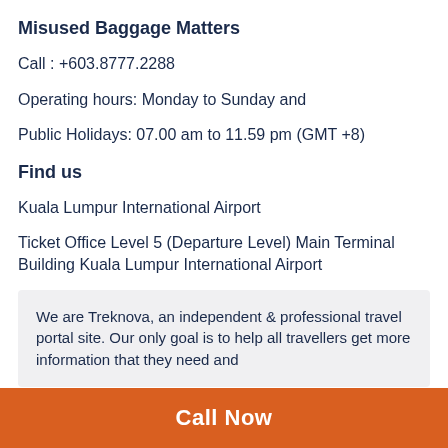Misused Baggage Matters
Call : +603.8777.2288
Operating hours: Monday to Sunday and
Public Holidays: 07.00 am to 11.59 pm (GMT +8)
Find us
Kuala Lumpur International Airport
Ticket Office Level 5 (Departure Level) Main Terminal Building Kuala Lumpur International Airport
We are Treknova, an independent & professional travel portal site. Our only goal is to help all travellers get more information that they need and
Call Now